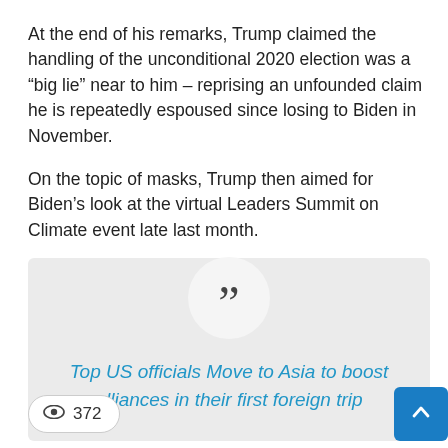At the end of his remarks, Trump claimed the handling of the unconditional 2020 election was a “big lie” near to him – reprising an unfounded claim he is repeatedly espoused since losing to Biden in November.
On the topic of masks, Trump then aimed for Biden’s look at the virtual Leaders Summit on Climate event late last month.
Top US officials Move to Asia to boost alliances in their first foreign trip
👁 372